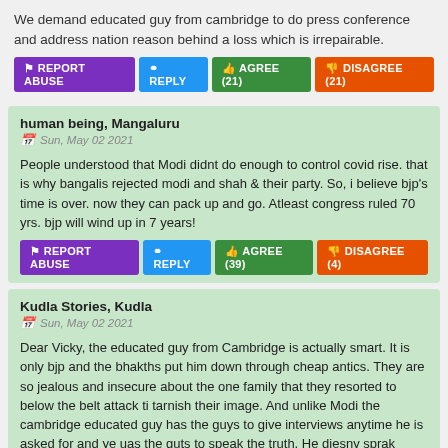We demand educated guy from cambridge to do press conference and address nation reason behind a loss which is irrepairable.
REPORT ABUSE  REPLY  AGREE (21)  DISAGREE (21)
human being, Mangaluru
Sun, May 02 2021
People understood that Modi didnt do enough to control covid rise. that is why bangalis rejected modi and shah & their party. So, i believe bjp's time is over. now they can pack up and go. Atleast congress ruled 70 yrs. bjp will wind up in 7 years!
REPORT ABUSE  REPLY  AGREE (39)  DISAGREE (4)
Kudla Stories, Kudla
Sun, May 02 2021
Dear Vicky, the educated guy from Cambridge is actually smart. It is only bjp and the bhakths put him down through cheap antics. They are so jealous and insecure about the one family that they resorted to below the belt attack ti tarnish their image. And unlike Modi the cambridge educated guy has the guys to give interviews anytime he is asked for and ye uas the guts to speak the truth. He diesny sprak about political